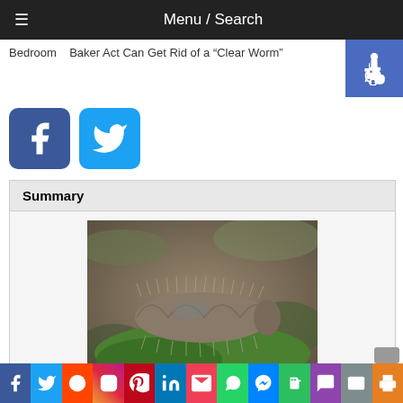Menu / Search
Bedroom   Baker Act Can Get Rid of a "Clear Worm"
[Figure (logo): Accessibility icon (wheelchair symbol) on blue background]
[Figure (logo): Facebook share button (large blue square with f logo)]
[Figure (logo): Twitter share button (large blue square with bird logo)]
Summary
[Figure (photo): Close-up photo of a fuzzy/hairy caterpillar resting on a green leaf, with blurred background of leaves and debris]
Social sharing bar: Facebook, Twitter, Reddit, Instagram, Pinterest, LinkedIn, Email, WhatsApp, Messenger, Evernote, SMS, Mail, Print